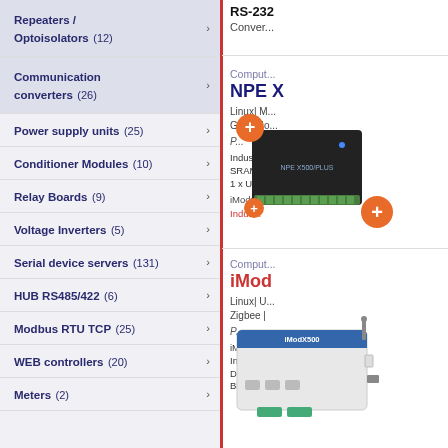Repeaters / Optoisolators (12)
Communication converters (26)
Power supply units (25)
Conditioner Modules (10)
Relay Boards (9)
Voltage Inverters (5)
Serial device servers (131)
HUB RS485/422 (6)
Modbus RTU TCP (25)
WEB controllers (20)
Meters (2)
RS-232
Conver...
Comput...
NPE X
Linux| M... GSM Mo...
Industrial SRAM, ... 1 x USB
iModClo... Indus...
[Figure (photo): NPE X500/PLUS industrial computer with orange plus icons overlay]
Comput...
iMod
Linux| U... Zigbee |
iMod X5... Industrial DIO/GPI... Bluetoot...
[Figure (photo): iMod X500 industrial computer/router device]